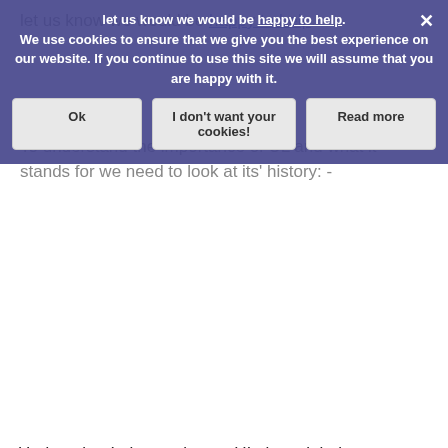let us know we would be happy to help.
We use cookies to ensure that we give you the best experience on our website. If you continue to use this site we will assume that you are happy with it.
To understand the importance of UL and what it stands for we need to look at its' history: -
Underwriter Laboratories, or UL, is a global company with headquarter in USA, Illinois. Offering a variety of services to help business improve their products or services and demonstrates they are safe to use and comply with set quality standards and regulations. From a manufacturer point of view, the UL affixed label gives our customers additional confidence in the safety, quality, and reliability of our product.
In 1893 a fire at the World Columbian Exposition in Chicago Illinois, where sixteen people lost their lives. Prompted William Henry Merrill, Jr who would go on to become UL's founder. Proposed the idea of an independent electrical testing laboratory and in 1894 the